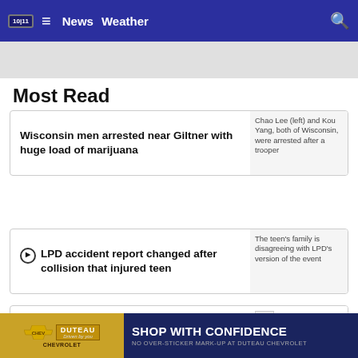10|11 News Weather
Most Read
Wisconsin men arrested near Giltner with huge load of marijuana
LPD accident report changed after collision that injured teen
31-year-old man shot in north Lincoln parking lot
[Figure (screenshot): Advertisement banner: Duteau Chevrolet – Shop With Confidence, No Over-Sticker Mark-Up at Duteau Chevrolet]